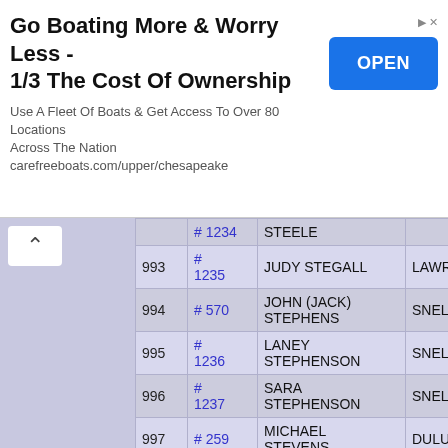[Figure (other): Advertisement banner: 'Go Boating More & Worry Less - 1/3 The Cost Of Ownership' with OPEN button. Text: 'Use A Fleet Of Boats & Get Access To Over 80 Locations Across The Nation carefreeboats.com/upper/chesapeake']
|  | # | Name | City |
| --- | --- | --- | --- |
|  | # 1234 | STEELE |  |
| 993 | # 1235 | JUDY STEGALL | LAWREN... |
| 994 | # 570 | JOHN (JACK) STEPHENS | SNELLVI... |
| 995 | # 1236 | LANEY STEPHENSON | SNELLVI... |
| 996 | # 1237 | SARA STEPHENSON | SNELLVI... |
| 997 | # 259 | MICHAEL STEVENS | DULUTH... |
| 998 | # 571 | JAYLEN STEWARD | DACULA... |
| 999 | # 1238 | BRIAN STEWART | SNELLVI... |
| 1000 | # 1239 | BRITTANY STEWART | SNELLVI... |
| 1001 | # 1240 | CHIP STEWART | SNELLVI... |
| 1002 | # 1241 | KATHY STEWART | SNELLVI... |